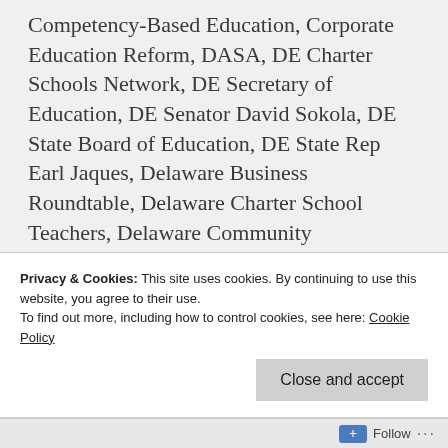Competency-Based Education, Corporate Education Reform, DASA, DE Charter Schools Network, DE Secretary of Education, DE Senator David Sokola, DE State Board of Education, DE State Rep Earl Jaques, Delaware Business Roundtable, Delaware Charter School Teachers, Delaware Community Foundation, Delaware DOE, Delaware Election 2018, Delaware General Assembly, Delaware Media, Delaware PTA, Delaware School Boards, Delaware Students, Delaware Teachers, DelawareCAN, Digital Badges, District Takeover, DSBA, DSEA, Education Equity Delaware, Education Funding Lawsuit, Governor Carney, Kendall
Privacy & Cookies: This site uses cookies. By continuing to use this website, you agree to their use.
To find out more, including how to control cookies, see here: Cookie Policy
Follow